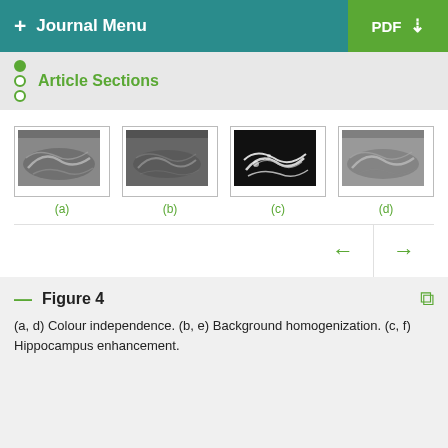+ Journal Menu   PDF ↓
Article Sections
[Figure (photo): Four MRI hippocampus images labeled (a), (b), (c), (d). (a) grayscale brain MRI, (b) darker grayscale brain MRI, (c) black background with bright highlighted hippocampus structures, (d) grayscale brain MRI similar to (a).]
(a, d) Colour independence. (b, e) Background homogenization. (c, f) Hippocampus enhancement.
Figure 4